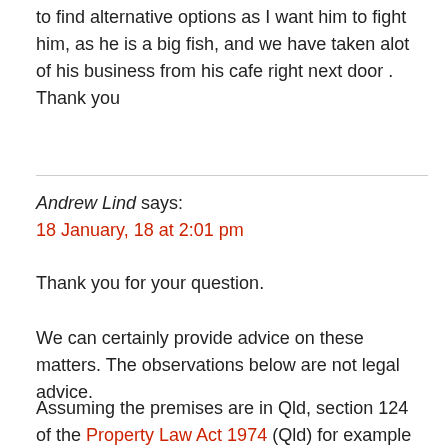to find alternative options as I want him to fight him, as he is a big fish, and we have taken alot of his business from his cafe right next door . Thank you
Andrew Lind says:
18 January, 18 at 2:01 pm
Thank you for your question.
We can certainly provide advice on these matters. The observations below are not legal advice.
Assuming the premises are in Qld, section 124 of the Property Law Act 1974 (Qld) for example provides in part